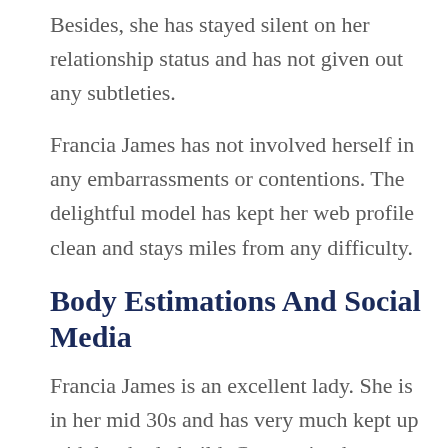Besides, she has stayed silent on her relationship status and has not given out any subtleties.
Francia James has not involved herself in any embarrassments or contentions. The delightful model has kept her web profile clean and stays miles from any difficulty.
Body Estimations And Social Media
Francia James is an excellent lady. She is in her mid 30s and has very much kept up with her body build. Concerning her stature, she stands tall at 5 feet 6 inches and weighs 60 kg. Moreover, her body estimations (chest...